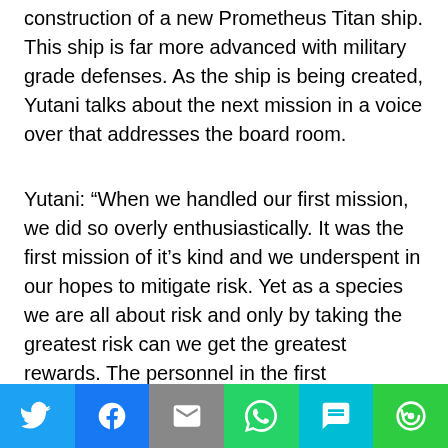construction of a new Prometheus Titan ship. This ship is far more advanced with military grade defenses. As the ship is being created, Yutani talks about the next mission in a voice over that addresses the board room.
Yutani: “When we handled our first mission, we did so overly enthusiastically. It was the first mission of it’s kind and we underspent in our hopes to mitigate risk. Yet as a species we are all about risk and only by taking the greatest risk can we get the greatest rewards. The personnel in the first